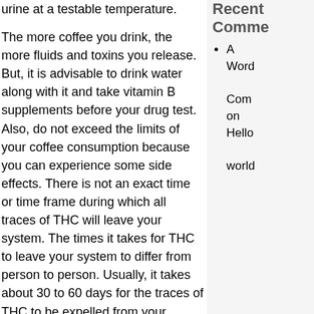urine at a testable temperature.
The more coffee you drink, the more fluids and toxins you release. But, it is advisable to drink water along with it and take vitamin B supplements before your drug test. Also, do not exceed the limits of your coffee consumption because you can experience some side effects. There is not an exact time or time frame during which all traces of THC will leave your system. The times it takes for THC to leave your system to differ from person to person. Usually, it takes about 30 to 60 days for the traces of THC to be expelled from your system naturally. According to American Addiction Centers, marijuana can remain in your body for the following time frame: There is a stark difference between each person's body and internal system.
Other factors include your age and how long and
Recent Comments
A WordPress Commenter on Hello world!